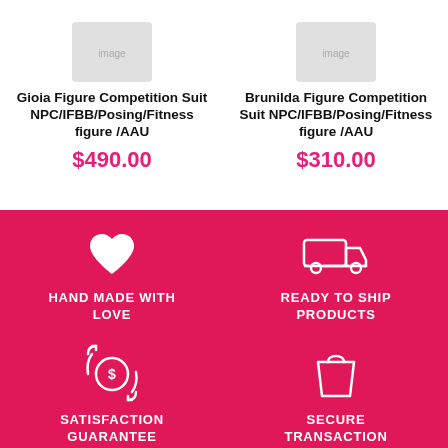Gioia Figure Competition Suit NPC/IFBB/Posing/Fitness figure /AAU
$490.00
Brunilda Figure Competition Suit NPC/IFBB/Posing/Fitness figure /AAU
$310.00
[Figure (infographic): Pink background section with four icons and labels: a heart icon labeled HAND MADE WITH LOVE, a delivery truck icon labeled READY TO SHIP PRODUCTS, a money/refresh icon labeled SATISFACTION GUARANTEE, and a shopping bag icon labeled SECURE TRANSACTION]
HAND MADE WITH LOVE
READY TO SHIP PRODUCTS
SATISFACTION GUARANTEE
SECURE TRANSACTION